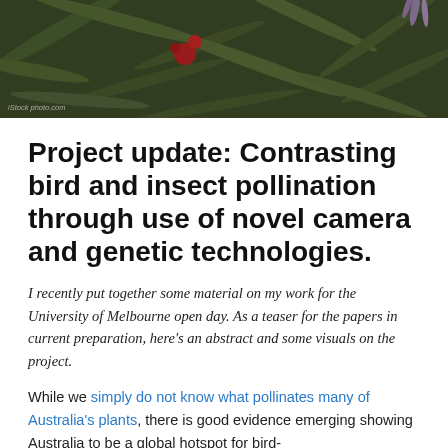[Figure (photo): Close-up photo of green foliage with red bottlebrush flowers against a blurred background. A watermark is visible in the lower left.]
Project update: Contrasting bird and insect pollination through use of novel camera and genetic technologies.
I recently put together some material on my work for the University of Melbourne open day. As a teaser for the papers in current preparation, here's an abstract and some visuals on the project.
While we simply do not know what pollinates many of Australia's plants, there is good evidence emerging showing Australia to be a global hotspot for bird-